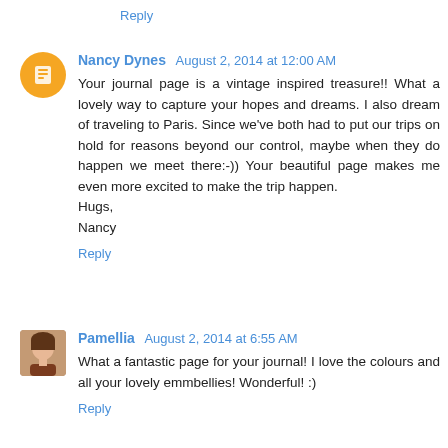Reply
Nancy Dynes  August 2, 2014 at 12:00 AM
Your journal page is a vintage inspired treasure!! What a lovely way to capture your hopes and dreams. I also dream of traveling to Paris. Since we've both had to put our trips on hold for reasons beyond our control, maybe when they do happen we meet there:-)) Your beautiful page makes me even more excited to make the trip happen.
Hugs,
Nancy
Reply
Pamellia  August 2, 2014 at 6:55 AM
What a fantastic page for your journal! I love the colours and all your lovely emmbellies! Wonderful! :)
Reply